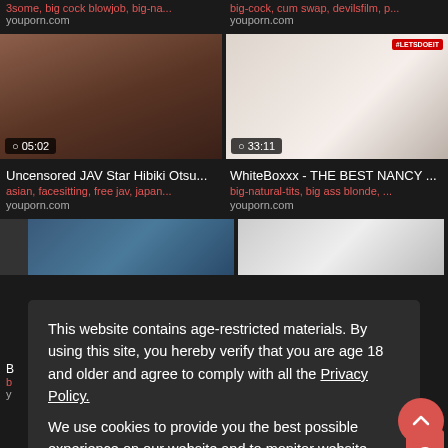3some, big cock blowjob, big-na...
youporn.com
big-cock, cum swap, devilsfilm, p...
youporn.com
[Figure (photo): Video thumbnail showing Asian woman, duration 05:02]
[Figure (photo): Video thumbnail showing blonde woman with #LETSDOEIT badge, duration 33:11]
Uncensored JAV Star Hibiki Otsu...
asian, facesitting, free jav, japan...
youporn.com
WhiteBoxxx - THE BEST NANCY ...
big-natural-tits, big ass blonde, ...
youporn.com
This website contains age-restricted materials. By using this site, you hereby verify that you are age 18 and older and agree to comply with all the Privacy Policy.
We use cookies to provide you the best possible experience on our website and to monitor website traffic. Cookies Policy.